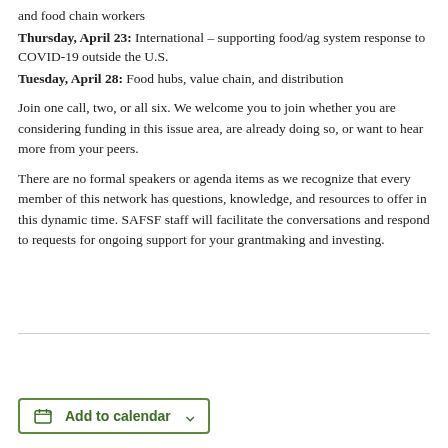and food chain workers
Thursday, April 23: International – supporting food/ag system response to COVID-19 outside the U.S.
Tuesday, April 28: Food hubs, value chain, and distribution
Join one call, two, or all six. We welcome you to join whether you are considering funding in this issue area, are already doing so, or want to hear more from your peers.
There are no formal speakers or agenda items as we recognize that every member of this network has questions, knowledge, and resources to offer in this dynamic time. SAFSF staff will facilitate the conversations and respond to requests for ongoing support for your grantmaking and investing.
Add to calendar